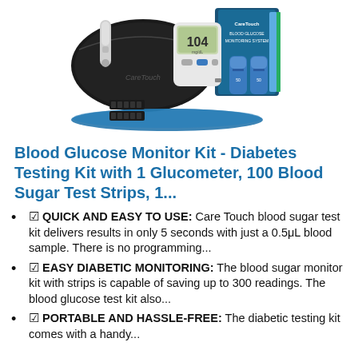[Figure (photo): Care Touch Blood Glucose Monitoring System kit showing: black carrying case with 'CareTouch' branding, a glucometer displaying '104', a lancing device, two vials of test strips, lancets, and a blue mat/pad, with the product box in the background.]
Blood Glucose Monitor Kit - Diabetes Testing Kit with 1 Glucometer, 100 Blood Sugar Test Strips, 1...
✔ QUICK AND EASY TO USE: Care Touch blood sugar test kit delivers results in only 5 seconds with just a 0.5μL blood sample. There is no programming...
✔ EASY DIABETIC MONITORING: The blood sugar monitor kit with strips is capable of saving up to 300 readings. The blood glucose test kit also...
✔ PORTABLE AND HASSLE-FREE: The diabetic testing kit comes with a handy...